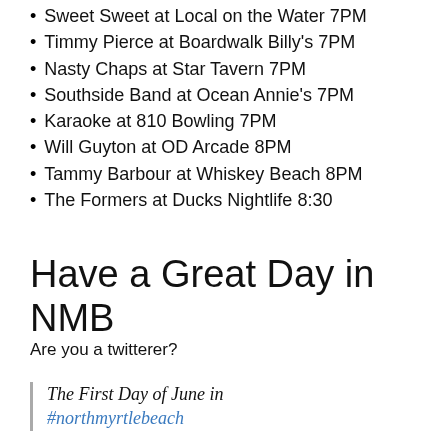Sweet Sweet at Local on the Water 7PM
Timmy Pierce at Boardwalk Billy's 7PM
Nasty Chaps at Star Tavern 7PM
Southside Band at Ocean Annie's 7PM
Karaoke at 810 Bowling 7PM
Will Guyton at OD Arcade 8PM
Tammy Barbour at Whiskey Beach 8PM
The Formers at Ducks Nightlife 8:30
Have a Great Day in NMB
Are you a twitterer?
The First Day of June in #northmyrtlebeach